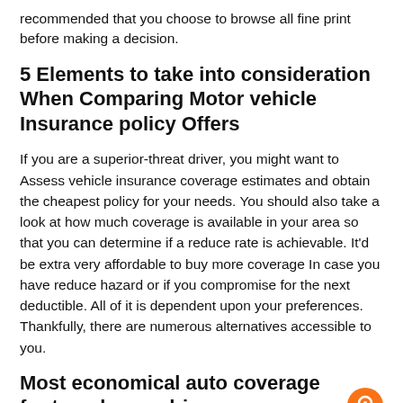recommended that you choose to browse all fine print before making a decision.
5 Elements to take into consideration When Comparing Motor vehicle Insurance policy Offers
If you are a superior-threat driver, you might want to Assess vehicle insurance coverage estimates and obtain the cheapest policy for your needs. You should also take a look at how much coverage is available in your area so that you can determine if a reduce rate is achievable. It'd be extra very affordable to buy more coverage In case you have reduce hazard or if you compromise for the next deductible. All of it is dependent upon your preferences. Thankfully, there are numerous alternatives accessible to you.
Most economical auto coverage for top-chance drivers